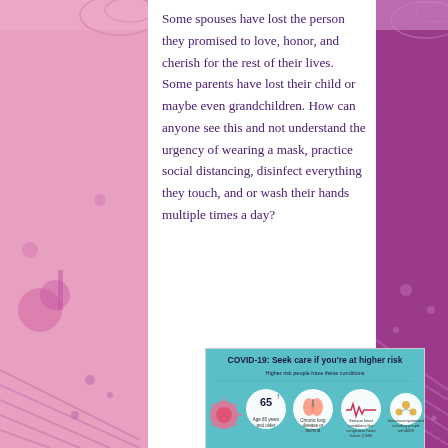Some spouses have lost the person they promised to love, honor, and cherish for the rest of their lives. Some parents have lost their child or maybe even grandchildren. How can anyone see this and not understand the urgency of wearing a mask, practice social distancing, disinfect everything they touch, and or wash their hands multiple times a day?
[Figure (infographic): COVID-19: Seek care if you're at higher risk. Higher risk people have these conditions. Shows icons for: Age 65 years and older, Chronic lung disease or asthma, Serious heart conditions like congestive heart failure (CHF), Immunocompromised including people with AIDS.]